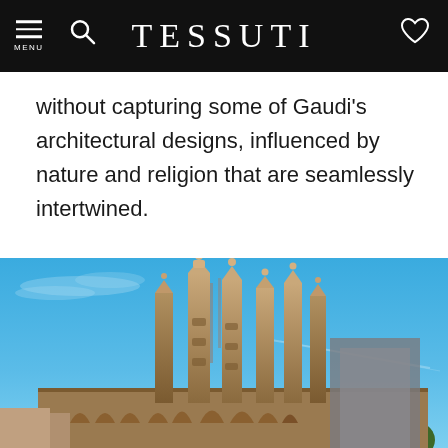TESSUTI
without capturing some of Gaudi's architectural designs, influenced by nature and religion that are seamlessly intertwined.
[Figure (photo): Exterior photograph of the Sagrada Família basilica by Antoni Gaudí in Barcelona. The ornate Gothic-inspired stone towers and spires rise dramatically against a bright blue sky with wispy clouds. Green trees are visible at the lower right.]